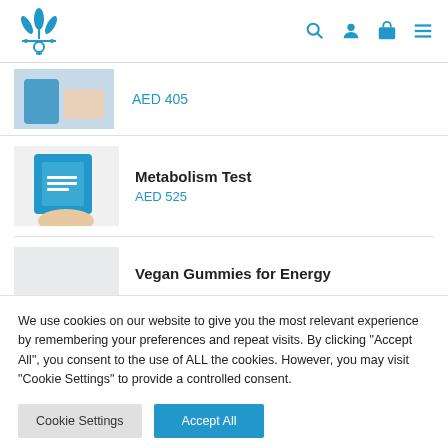Logo and navigation icons (search, account, cart, menu)
AED 405
Metabolism Test
AED 525
Vegan Gummies for Energy
We use cookies on our website to give you the most relevant experience by remembering your preferences and repeat visits. By clicking "Accept All", you consent to the use of ALL the cookies. However, you may visit "Cookie Settings" to provide a controlled consent.